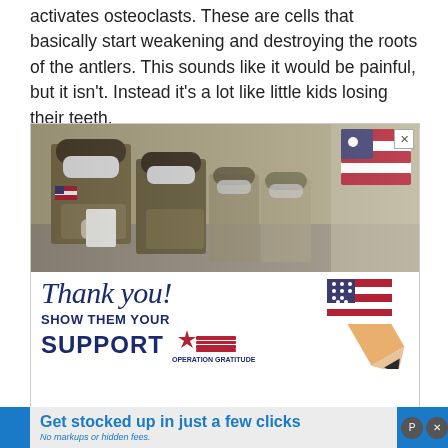activates osteoclasts. These are cells that basically start weakening and destroying the roots of the antlers. This sounds like it would be painful, but it isn't. Instead it's a lot like little kids losing their teeth.
[Figure (photo): Advertisement showing soldiers in military uniform wearing masks, with a 'Thank you! SHOW THEM YOUR SUPPORT' message and Operation Gratitude logo with an American flag pencil graphic.]
[Figure (photo): Advertisement banner: 'Get stocked up in just a few clicks. No markups or hidden fees.' on a light background with blue text, set against a blue banner background.]